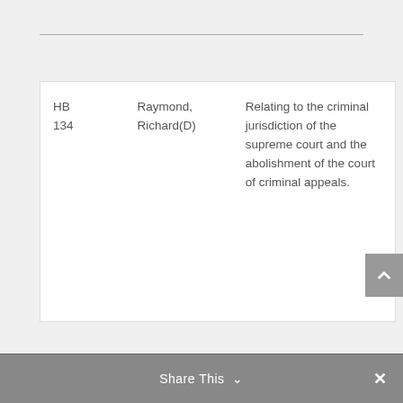| Bill | Sponsor | Description |
| --- | --- | --- |
| HB 134 | Raymond, Richard(D) | Relating to the criminal jurisdiction of the supreme court and the abolishment of the court of criminal appeals. |
Share This ∨  ✕